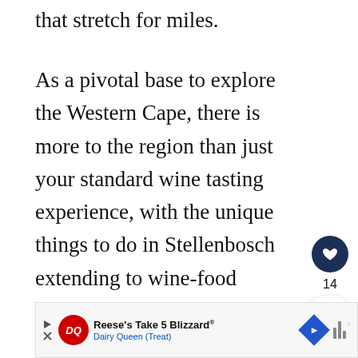that stretch for miles.
As a pivotal base to explore the Western Cape, there is more to the region than just your standard wine tasting experience, with the unique things to do in Stellenbosch extending to wine-food pairings with a difference, including fudge cupcakes as well as a wine safari.
[Figure (infographic): Heart/like button (dark navy circle with white heart icon), like count 14, and share button (white rounded rectangle with share icon)]
[Figure (infographic): What's Next panel with thumbnail image of vineyard/landscape and text 'WHAT'S NEXT → Things to Do in...']
[Figure (infographic): Advertisement banner: Dairy Queen - Reese's Take 5 Blizzard with DQ logo, Dairy Queen (Treat) text, navigation/map icon, and audio wave icon]